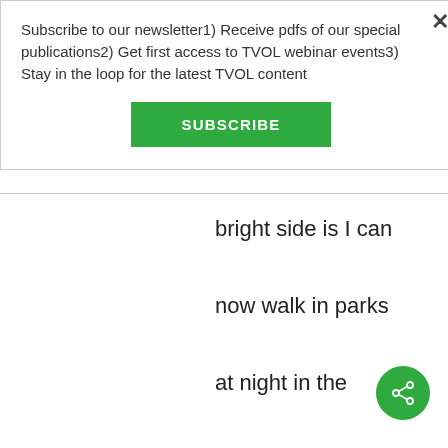Subscribe to our newsletter1) Receive pdfs of our special publications2) Get first access to TVOL webinar events3) Stay in the loop for the latest TVOL content
[Figure (other): Green SUBSCRIBE button]
bright side is I can now walk in parks at night in the Capitol city Sacramento and there are no aggressive teenagers hanging
[Figure (other): Green circular share icon button in the bottom right]